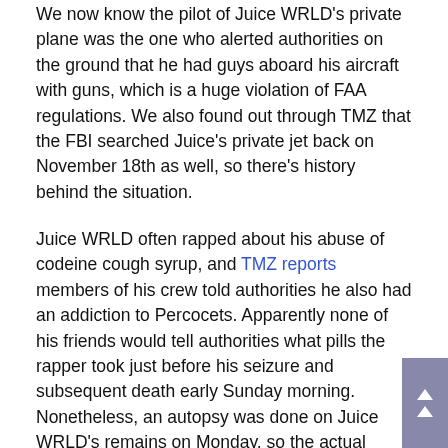We now know the pilot of Juice WRLD's private plane was the one who alerted authorities on the ground that he had guys aboard his aircraft with guns, which is a huge violation of FAA regulations. We also found out through TMZ that the FBI searched Juice's private jet back on November 18th as well, so there's history behind the situation.
Juice WRLD often rapped about his abuse of codeine cough syrup, and TMZ reports members of his crew told authorities he also had an addiction to Percocets. Apparently none of his friends would tell authorities what pills the rapper took just before his seizure and subsequent death early Sunday morning. Nonetheless, an autopsy was done on Juice WRLD's remains on Monday, so the actual cause of death will be determined soon.
Another very important question left outstanding is... Who does all that dope belong to? Answering that will likely